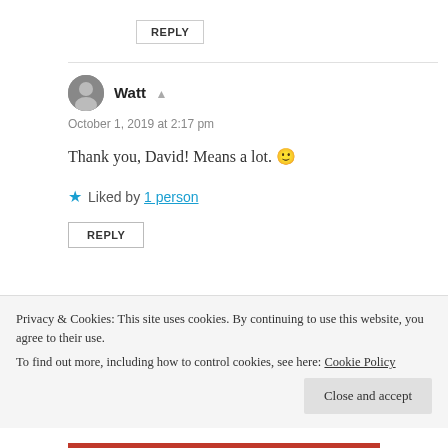REPLY
Watt
October 1, 2019 at 2:17 pm
Thank you, David! Means a lot. 🙂
★ Liked by 1 person
REPLY
Privacy & Cookies: This site uses cookies. By continuing to use this website, you agree to their use.
To find out more, including how to control cookies, see here: Cookie Policy
Close and accept